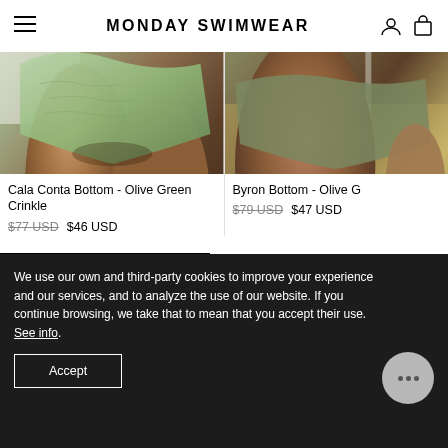MONDAY SWIMWEAR
[Figure (photo): Close-up photo of a model wearing a mint/olive green crinkle bikini bottom, cropped to show hips and legs]
Cala Conta Bottom - Olive Green Crinkle
$77 USD  $46 USD
[Figure (photo): Close-up photo of a model wearing an olive green bikini bottom, partially visible on right side of page]
Byron Bottom - Olive G
$79 USD  $47 USD
We use our own and third-party cookies to improve your experience and our services, and to analyze the use of our website. If you continue browsing, we take that to mean that you accept their use. See info.
Accept